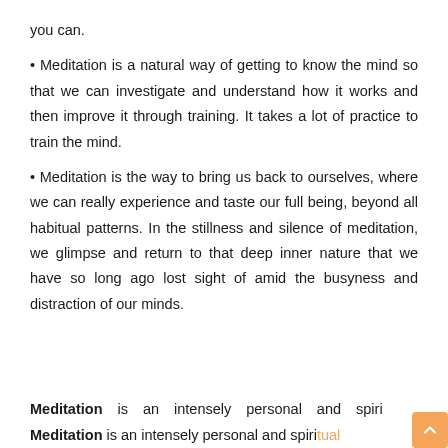you can.
• Meditation is a natural way of getting to know the mind so that we can investigate and understand how it works and then improve it through training. It takes a lot of practice to train the mind.
• Meditation is the way to bring us back to ourselves, where we can really experience and taste our full being, beyond all habitual patterns. In the stillness and silence of meditation, we glimpse and return to that deep inner nature that we have so long ago lost sight of amid the busyness and distraction of our minds.
Meditation is an intensely personal and spiritual